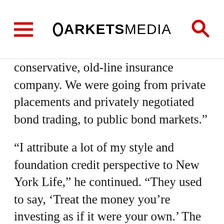MARKETS MEDIA
conservative, old-line insurance company. We were going from private placements and privately negotiated bond trading, to public bond markets."
“I attribute a lot of my style and foundation credit perspective to New York Life,” he continued. “They used to say, ‘Treat the money you’re investing as if it were your own.’ The other philosophy was that when somebody was trying to sell you a bond, the